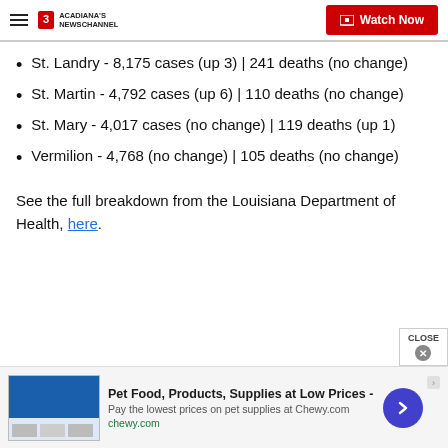Acadiana's Newschannel | Watch Now
St. Landry - 8,175 cases (up 3) | 241 deaths (no change)
St. Martin - 4,792 cases (up 6) | 110 deaths (no change)
St. Mary - 4,017 cases (no change) | 119 deaths (up 1)
Vermilion - 4,768 (no change) | 105 deaths (no change)
See the full breakdown from the Louisiana Department of Health, here.
[Figure (screenshot): Advertisement banner: Pet Food, Products, Supplies at Low Prices - Chewy.com]